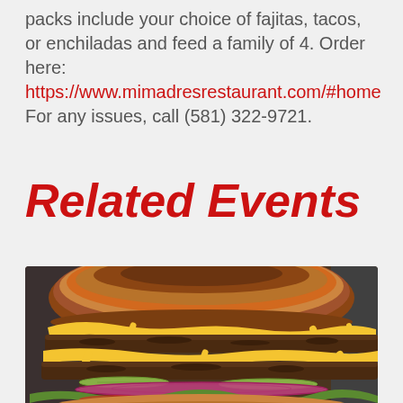packs include your choice of fajitas, tacos, or enchiladas and feed a family of 4. Order here: https://www.mimadresrestaurant.com/#home For any issues, call (581) 322-9721.
Related Events
[Figure (photo): Close-up photo of a large double cheeseburger with two beef patties, melted yellow cheese, pickles, red onion, lettuce, and tomato on a toasted brioche bun, served on a white surface.]